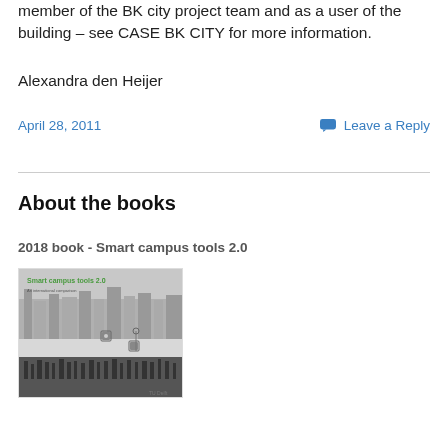member of the BK city project team and as a user of the building – see CASE BK CITY for more information.
Alexandra den Heijer
April 28, 2011
Leave a Reply
About the books
2018 book - Smart campus tools 2.0
[Figure (photo): Book cover of 'Smart campus tools 2.0 - An international comparison' showing a city skyline silhouette with people and building icons]